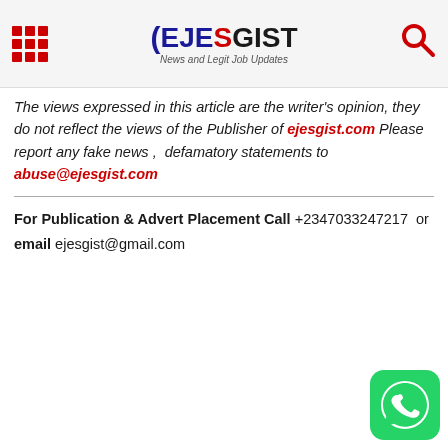EJESGIST News and Legit Job Updates
The views expressed in this article are the writer's opinion, they do not reflect the views of the Publisher of ejesgist.com Please report any fake news ,  defamatory statements to abuse@ejesgist.com
For Publication & Advert Placement Call +2347033247217  or
email ejesgist@gmail.com